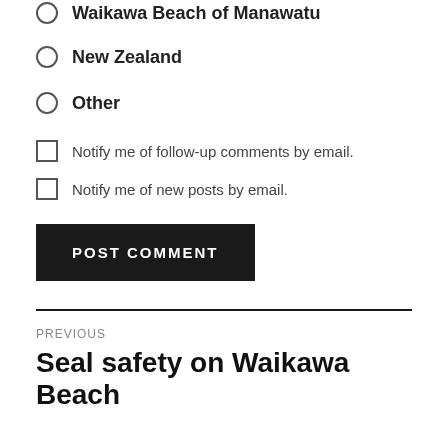Waikawa Beach of Manawatu (partial, cut off at top)
New Zealand
Other
Notify me of follow-up comments by email.
Notify me of new posts by email.
POST COMMENT
PREVIOUS
Seal safety on Waikawa Beach